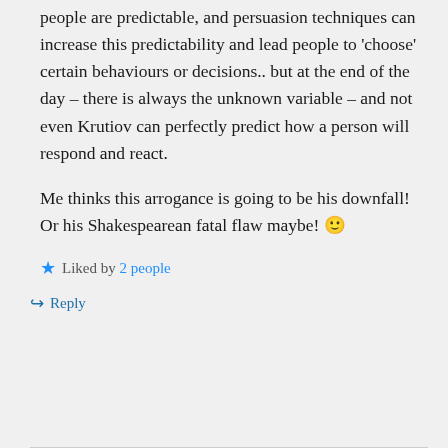people are predictable, and persuasion techniques can increase this predictability and lead people to 'choose' certain behaviours or decisions.. but at the end of the day – there is always the unknown variable – and not even Krutiov can perfectly predict how a person will respond and react.

Me thinks this arrogance is going to be his downfall! Or his Shakespearean fatal flaw maybe! 🙂
Liked by 2 people
Reply